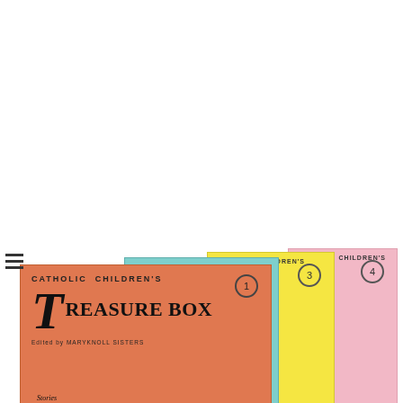[Figure (illustration): Stack of Catholic Children's Treasure Box book covers fanned out, numbered 1-4, with salmon/orange front cover showing large decorative T, children illustrations, and text: Stories, Poems, Games, Things to do, Fun things to make. Edited by Maryknoll Sisters.]
A list of great spiritual reading books that will inspire Catholic children from preschool through high school.
February 20, 2018 / family, Lent, Reading, Vicki Burbach
10 Great Books for Lent That You